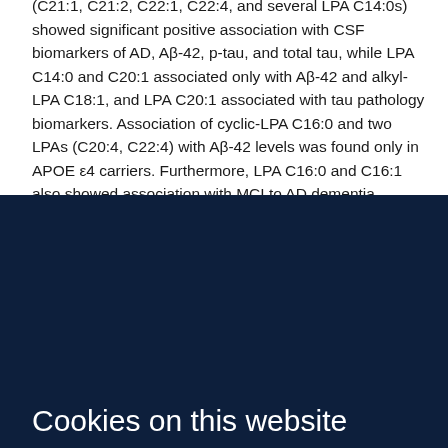(C21:1, C21:2, C22:1, C22:4, and several LPA C14:0s) showed significant positive association with CSF biomarkers of AD, Aβ-42, p-tau, and total tau, while LPA C14:0 and C20:1 associated only with Aβ-42 and alkyl-LPA C18:1, and LPA C20:1 associated with tau pathology biomarkers. Association of cyclic-LPA C16:0 and two LPAs (C20:4, C22:4) with Aβ-42 levels was found only in APOE ε4 carriers. Furthermore, LPA C16:0 and C16:1 also showed association with MCI to AD dementia progression, but results did not replicate in an
Cookies on this website
We use cookies to ensure that we give you the best experience on our website. If you click 'Accept all cookies' we'll assume that you are happy to receive all cookies and you won't see this message again. If you click 'Reject all non-essential cookies' only necessary cookies providing core functionality such as security, network management, and accessibility will be enabled. Click 'Find out more' for information on how to change your cookie settings.